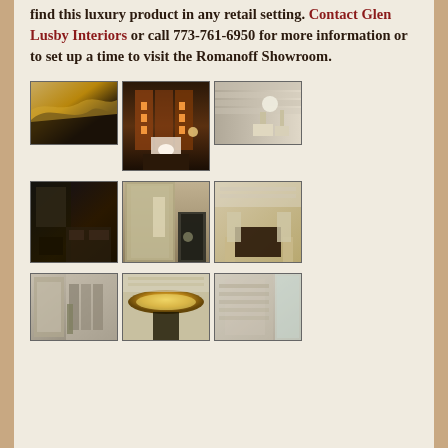find this luxury product in any retail setting. Contact Glen Lusby Interiors or call 773-761-6950 for more information or to set up a time to visit the Romanoff Showroom.
[Figure (photo): Three interior design photos: metallic textured wallcovering, a luxury living room with fireplace and lit shelving, and a room with pale wood-look wall panels]
[Figure (photo): Three interior design photos: dark lounge with textured walls, a hotel-style reception desk with stone panel wall, and an elegant circular foyer with round table]
[Figure (photo): Three interior design photos: a hallway with decorative wall panels, a ceiling with a glowing gold circular fixture, and a room with pale curtains and wall finish]